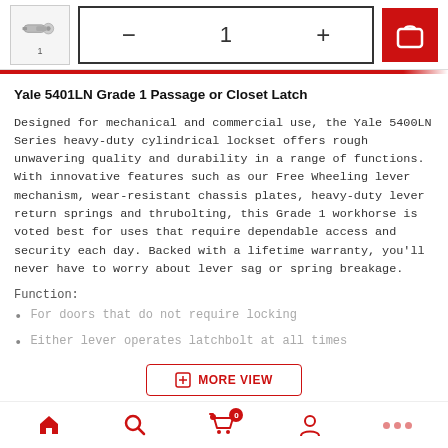[Figure (screenshot): Product thumbnail showing a door lever/lockset, with quantity selector (minus, 1, plus) and red add-to-cart button]
Yale 5401LN Grade 1 Passage or Closet Latch
Designed for mechanical and commercial use, the Yale 5400LN Series heavy-duty cylindrical lockset offers rough unwavering quality and durability in a range of functions. With innovative features such as our Free Wheeling lever mechanism, wear-resistant chassis plates, heavy-duty lever return springs and thrubolting, this Grade 1 workhorse is voted best for uses that require dependable access and security each day. Backed with a lifetime warranty, you'll never have to worry about lever sag or spring breakage.
Function:
For doors that do not require locking
Either lever operates latchbolt at all times
Features:
[Figure (screenshot): MORE VIEW button with plus icon]
Home | Search | Cart (0) | Account | More